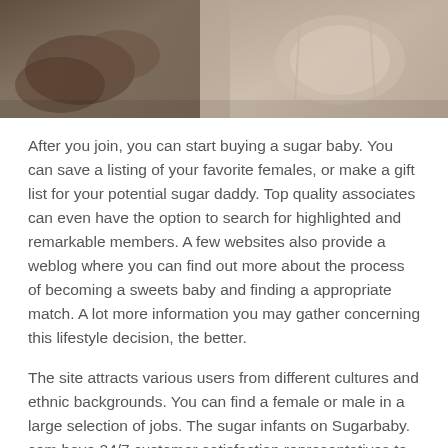[Figure (photo): Partial photo showing hands and a table setting, cropped at the top of the page.]
After you join, you can start buying a sugar baby. You can save a listing of your favorite females, or make a gift list for your potential sugar daddy. Top quality associates can even have the option to search for highlighted and remarkable members. A few websites also provide a weblog where you can find out more about the process of becoming a sweets baby and finding a appropriate match. A lot more information you may gather concerning this lifestyle decision, the better.
The site attracts various users from different cultures and ethnic backgrounds. You can find a female or male in a large selection of jobs. The sugar infants on Sugarbaby. com have 24/7 customer satisfaction representatives to help you with any concerns or issues. The website is usually protected simply by an SSL security process and offers increased search engine ranking. In addition , it also responds to issues with other users. This website is well-liked with women who are looking for a long-term romance.